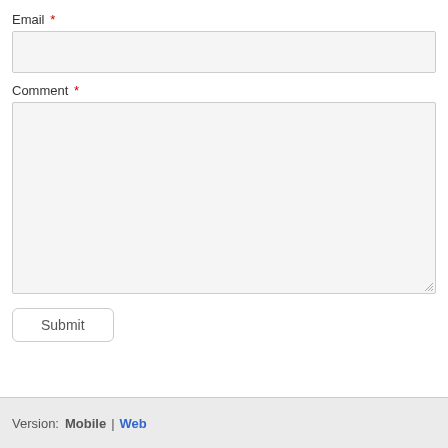Email *
Comment *
Submit
Version: Mobile | Web